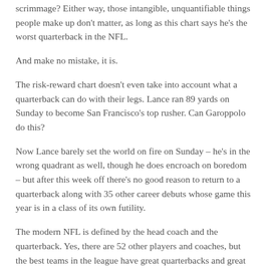scrimmage? Either way, those intangible, unquantifiable things people make up don't matter, as long as this chart says he's the worst quarterback in the NFL.
And make no mistake, it is.
The risk-reward chart doesn't even take into account what a quarterback can do with their legs. Lance ran 89 yards on Sunday to become San Francisco's top rusher. Can Garoppolo do this?
Now Lance barely set the world on fire on Sunday – he's in the wrong quadrant as well, though he does encroach on boredom – but after this week off there's no good reason to return to a quarterback along with 35 other career debuts whose game this year is in a class of its own futility.
The modern NFL is defined by the head coach and the quarterback. Yes, there are 52 other players and coaches, but the best teams in the league have great quarterbacks and great